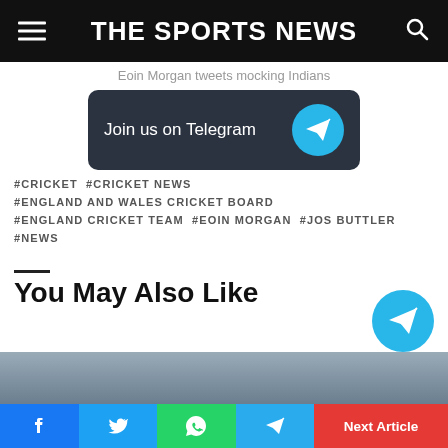THE SPORTS NEWS
Eoin Morgan tweets mocking Indians
[Figure (infographic): Dark rounded rectangle banner with text 'Join us on Telegram' and a cyan Telegram paper plane icon on the right]
#CRICKET  #CRICKET NEWS
#ENGLAND AND WALES CRICKET BOARD
#ENGLAND CRICKET TEAM  #EOIN MORGAN  #JOS BUTTLER
#NEWS
You May Also Like
[Figure (photo): Blurred crowd photo strip at bottom]
Facebook | Twitter | WhatsApp | Telegram | Next Article